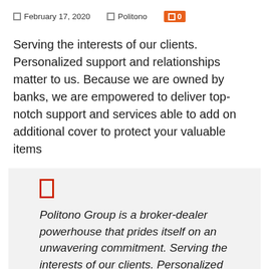February 17, 2020   Politono   0
Serving the interests of our clients. Personalized support and relationships matter to us. Because we are owned by banks, we are empowered to deliver top-notch support and services able to add on additional cover to protect your valuable items
Politono Group is a broker-dealer powerhouse that prides itself on an unwavering commitment. Serving the interests of our clients. Personalized support and relationships matter to us.